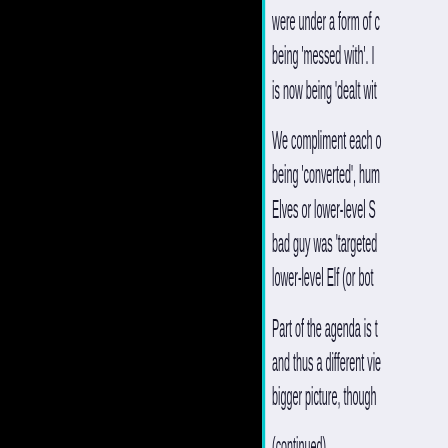were under a form of c being 'messed with'. I is now being 'dealt wit
We compliment each o being 'converted', hum Elves or lower-level S bad guy was 'targeted lower-level Elf (or bot
Part of the agenda is t and thus a different vie bigger picture, though
(continued)
Monday, May 28, 2
Scroll to Top
Ray B. said